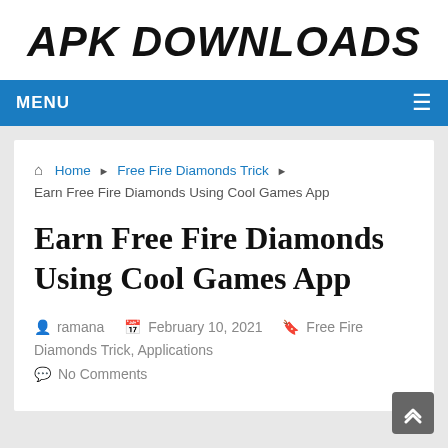APK DOWNLOADS
MENU
Home ▶ Free Fire Diamonds Trick ▶ Earn Free Fire Diamonds Using Cool Games App
Earn Free Fire Diamonds Using Cool Games App
ramana   February 10, 2021   Free Fire Diamonds Trick, Applications   No Comments